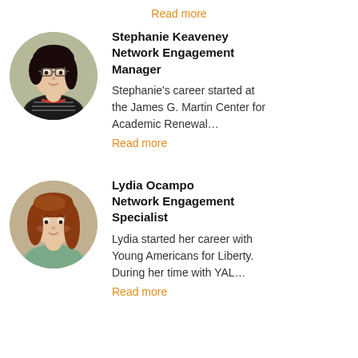Read more
[Figure (photo): Circular headshot photo of Stephanie Keaveney, a woman with dark hair wearing glasses and a striped top, against an olive/khaki background.]
Stephanie Keaveney
Network Engagement Manager
Stephanie's career started at the James G. Martin Center for Academic Renewal…
Read more
[Figure (photo): Circular headshot photo of Lydia Ocampo, a woman with long auburn hair wearing a light green top, against an olive/khaki background.]
Lydia Ocampo
Network Engagement Specialist
Lydia started her career with Young Americans for Liberty. During her time with YAL…
Read more